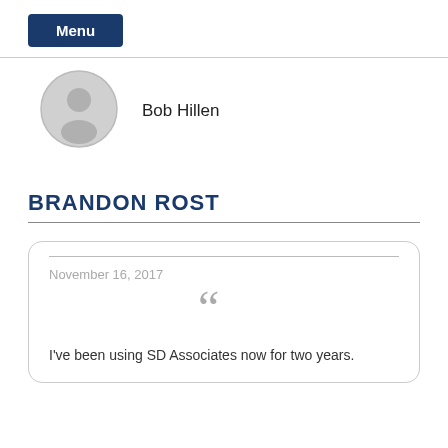Menu
[Figure (illustration): Gray circular avatar/silhouette icon representing a person profile placeholder]
Bob Hillen
BRANDON ROST
November 16, 2017
[Figure (illustration): Large gray double open-quote marks icon]
I've been using SD Associates now for two years.